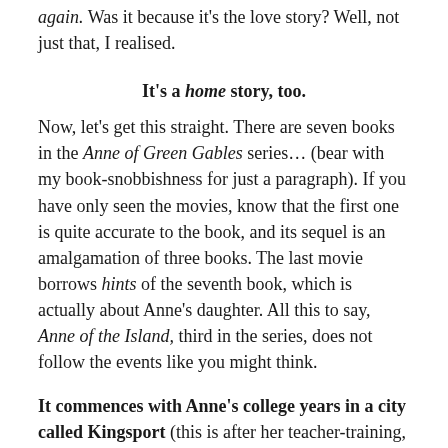again. Was it because it's the love story? Well, not just that, I realised.
It's a home story, too.
Now, let's get this straight. There are seven books in the Anne of Green Gables series… (bear with my book-snobbishness for just a paragraph). If you have only seen the movies, know that the first one is quite accurate to the book, and its sequel is an amalgamation of three books. The last movie borrows hints of the seventh book, which is actually about Anne's daughter. All this to say, Anne of the Island, third in the series, does not follow the events like you might think.
It commences with Anne's college years in a city called Kingsport (this is after her teacher-training, and teaching in small-town Avonlea). Of course, it's the height of drama with Gilbert– at this point, they're good friends, but she's just a tad in denial and cannot